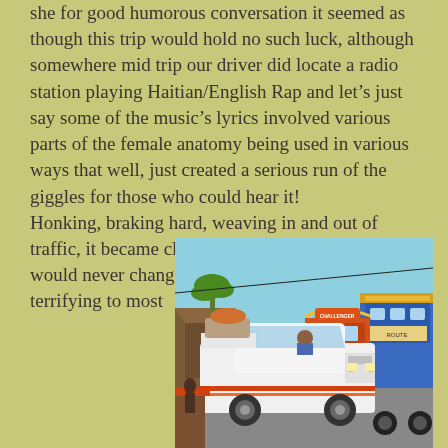she for good humorous conversation it seemed as though this trip would hold no such luck, although somewhere mid trip our driver did locate a radio station playing Haitian/English Rap and let's just say some of the music's lyrics involved various parts of the female anatomy being used in various ways that well, just created a serious run of the giggles for those who could hear it! Honking, braking hard, weaving in and out of traffic, it became clear that some things in Haiti would never change. The Haitian driving style is terrifying to most
[Figure (photo): A white pickup truck driving in a busy Haitian street with colorful vehicles including a tap-tap bus in the background, palm trees and market stalls visible]